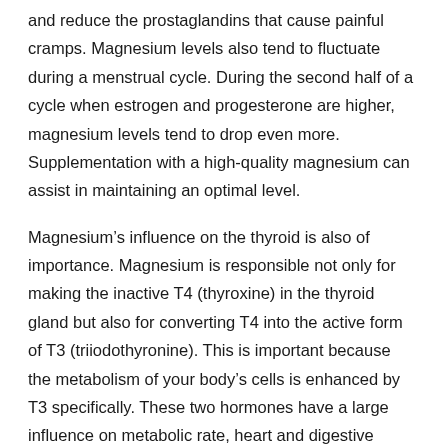and reduce the prostaglandins that cause painful cramps. Magnesium levels also tend to fluctuate during a menstrual cycle. During the second half of a cycle when estrogen and progesterone are higher, magnesium levels tend to drop even more. Supplementation with a high-quality magnesium can assist in maintaining an optimal level.
Magnesium's influence on the thyroid is also of importance. Magnesium is responsible not only for making the inactive T4 (thyroxine) in the thyroid gland but also for converting T4 into the active form of T3 (triiodothyronine). This is important because the metabolism of your body's cells is enhanced by T3 specifically. These two hormones have a large influence on metabolic rate, heart and digestive function, muscle control, brain development and bone maintenance. Studies have shown that severely low serum